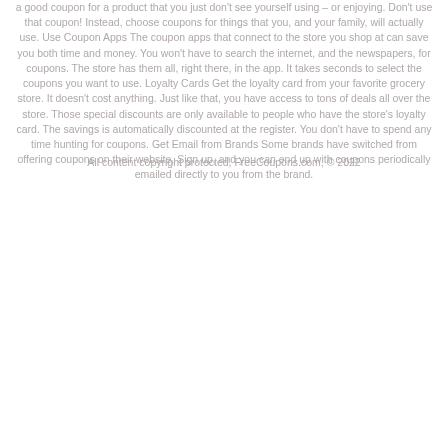a good coupon for a product that you just don't see yourself using – or enjoying. Don't use that coupon! Instead, choose coupons for things that you, and your family, will actually use. Use Coupon Apps The coupon apps that connect to the store you shop at can save you both time and money. You won't have to search the internet, and the newspapers, for coupons. The store has them all, right there, in the app. It takes seconds to select the coupons you want to use. Loyalty Cards Get the loyalty card from your favorite grocery store. It doesn't cost anything. Just like that, you have access to tons of deals all over the store. Those special discounts are only available to people who have the store's loyalty card. The savings is automatically discounted at the register. You don't have to spend any time hunting for coupons. Get Email from Brands Some brands have switched from offering coupons on their website, Sign up, and you can end up with coupons periodically emailed directly to you from the brand.
All content copyright protected, FreeCoupons.com, © 2022